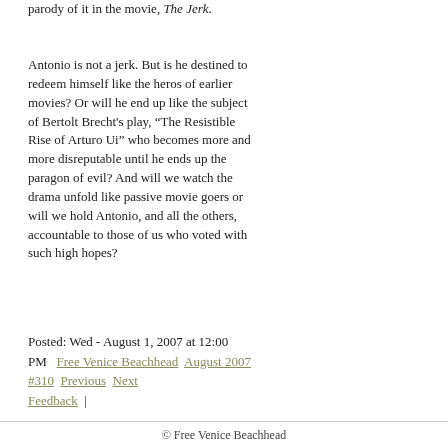parody of it in the movie, The Jerk.
Antonio is not a jerk. But is he destined to redeem himself like the heros of earlier movies? Or will he end up like the subject of Bertolt Brecht's play, “The Resistible Rise of Arturo Ui” who becomes more and more disreputable until he ends up the paragon of evil? And will we watch the drama unfold like passive movie goers or will we hold Antonio, and all the others, accountable to those of us who voted with such high hopes?
Posted: Wed - August 1, 2007 at 12:00 PM   Free Venice Beachhead   August 2007 #310   Previous   Next   Feedback   |
© Free Venice Beachhead